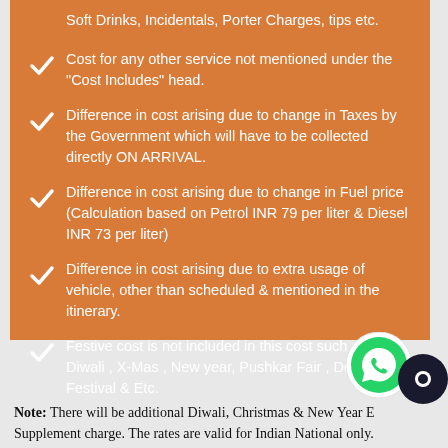Soft Drinks, Incidentals, Porter Charges, tips etc.
Cost for any other service not mentioned under the "Cost Includes" head.
Difference in cost arising due to change in Taxes by the Government which will have to be collected directly ON ARRIVAL.
Difference in cost arising due to change in Fuel price (Calculation based on Petrol INR 79 per liter & Diesel INR 73 per liter)
Difference in cost arising due to extra usage of vehicle, other than scheduled & mentioned in the itinerary.
Festive cost is not included in this cost such as ( Diwali , X-Mas , New year, Pushkar Fair , Desert Festival & Etc.
Note: There will be additional Diwali, Christmas & New Year Eve Supplement charge. The rates are valid for Indian National only.